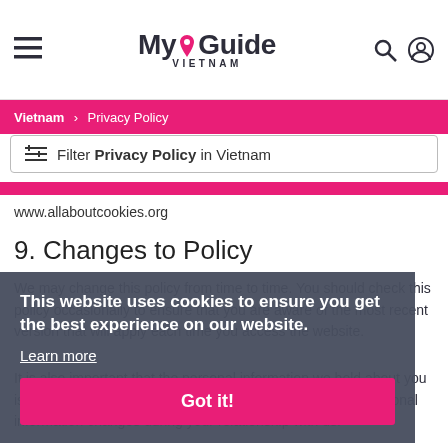MyGuide VIETNAM
Vietnam > Privacy Policy
Filter Privacy Policy in Vietnam
www.allaboutcookies.org
9. Changes to Policy
We may change this policy from time to time. You should check this policy occasionally to ensure that you are aware of the most recent version that will apply each time you access the website.
It is also important that the personal information we hold about you is accurate and current. Please keep us informed if your personal information changes during your relationship with us.
This website uses cookies to ensure you get the best experience on our website.
Learn more
Got it!